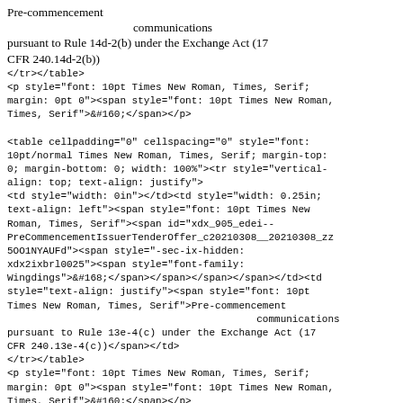<span style="font: 10pt Times New Roman, Times,
Serif">Pre-commencement
                                          communications
pursuant to Rule 14d-2(b) under the Exchange Act (17
CFR 240.14d-2(b))</span></td>
</tr></table>
<p style="font: 10pt Times New Roman, Times, Serif;
margin: 0pt 0"><span style="font: 10pt Times New Roman,
Times, Serif">&#160;</span></p>

<table cellpadding="0" cellspacing="0" style="font:
10pt/normal Times New Roman, Times, Serif; margin-top:
0; margin-bottom: 0; width: 100%"><tr style="vertical-
align: top; text-align: justify">
<td style="width: 0in"></td><td style="width: 0.25in;
text-align: left"><span style="font: 10pt Times New
Roman, Times, Serif"><span id="xdx_905_edei--
PreCommencementIssuerTenderOffer_c20210308__20210308_zz
5OO1NYAUFd"><span style="-sec-ix-hidden:
xdx2ixbrl0025"><span style="font-family:
Wingdings">&#168;</span></span></span></span></td><td
style="text-align: justify"><span style="font: 10pt
Times New Roman, Times, Serif">Pre-commencement
                                          communications
pursuant to Rule 13e-4(c) under the Exchange Act (17
CFR 240.13e-4(c))</span></td>
</tr></table>
<p style="font: 10pt Times New Roman, Times, Serif;
margin: 0pt 0"><span style="font: 10pt Times New Roman,
Times, Serif">&#160;</span></p>